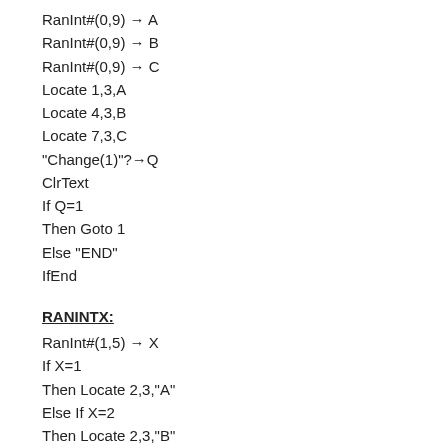RanInt#(0,9) → A
RanInt#(0,9) → B
RanInt#(0,9) → C
Locate 1,3,A
Locate 4,3,B
Locate 7,3,C
"Change(1)"?→Q
ClrText
If Q=1
Then Goto 1
Else "END"
IfEnd
RANINTX:
RanInt#(1,5) → X
If X=1
Then Locate 2,3,"A"
Else If X=2
Then Locate 2,3,"B"
Else If X=3
Then Locate 2,3,"C"
Else If X=4
Then Locate 2,3,"D"